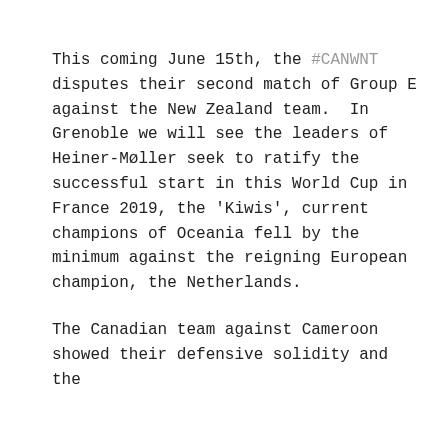This coming June 15th, the #CANWNT disputes their second match of Group E against the New Zealand team.  In Grenoble we will see the leaders of Heiner-Møller seek to ratify the successful start in this World Cup in France 2019, the 'Kiwis', current champions of Oceania fell by the minimum against the reigning European champion, the Netherlands.
The Canadian team against Cameroon showed their defensive solidity and the